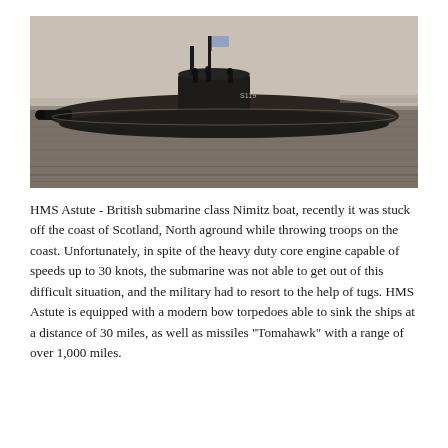[Figure (photo): Black and white photograph of HMS Astute British submarine sailing on the sea surface, with people visible on the conning tower and a flag flying, taken from water level showing the hull partially submerged.]
HMS Astute - British submarine class Nimitz boat, recently it was stuck off the coast of Scotland, North aground while throwing troops on the coast. Unfortunately, in spite of the heavy duty core engine capable of speeds up to 30 knots, the submarine was not able to get out of this difficult situation, and the military had to resort to the help of tugs. HMS Astute is equipped with a modern bow torpedoes able to sink the ships at a distance of 30 miles, as well as missiles "Tomahawk" with a range of over 1,000 miles.